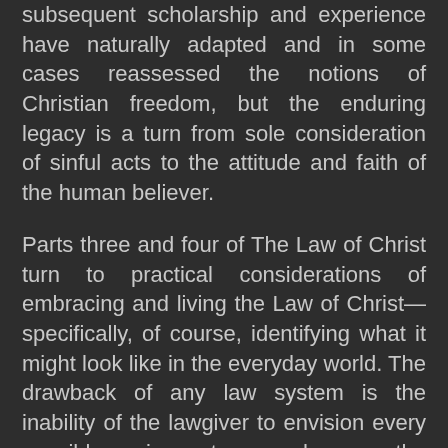subsequent scholarship and experience have naturally adapted and in some cases reassessed the notions of Christian freedom, but the enduring legacy is a turn from sole consideration of sinful acts to the attitude and faith of the human believer.
Parts three and four of The Law of Christ turn to practical considerations of embracing and living the Law of Christ—specifically, of course, identifying what it might look like in the everyday world. The drawback of any law system is the inability of the lawgiver to envision every possible circumstance; hence the importance of the Supreme Court of the United States, for example. Haring never dismissed the ultimate authority of the